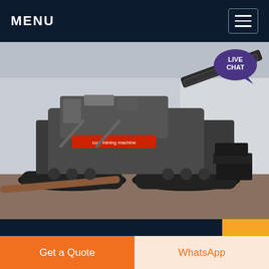MENU
[Figure (photo): Industrial coal mining machine/crusher on tracks in a factory or outdoor industrial setting. Heavy machinery with conveyor belts and caterpillar tracks visible.]
What is deep coal mining and o...
Dec 19, 2017 · Wh n the coal is loed just below the Earth's surface w us open cast mining. When coal is loed in deep below Earth we have to adopt deep mining. Open cast remove the
Get a Quote | WhatsApp